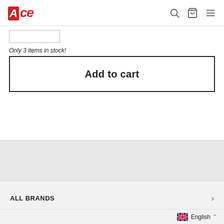Ace — Add to cart page header
Only 3 items in stock!
Add to cart
ALL BRANDS
HOME
English